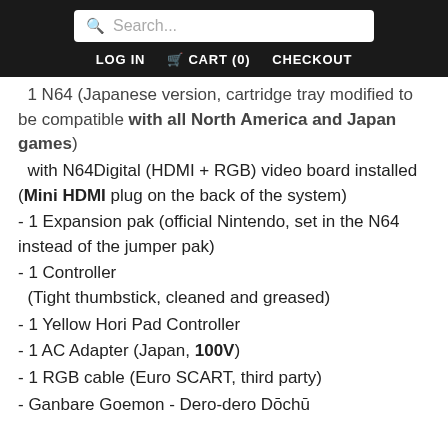Search... | LOG IN | CART (0) | CHECKOUT
1 N64 (Japanese version, cartridge tray modified to be compatible with all North America and Japan games) with N64Digital (HDMI + RGB) video board installed (Mini HDMI plug on the back of the system)
- 1 Expansion pak (official Nintendo, set in the N64 instead of the jumper pak)
- 1 Controller (Tight thumbstick, cleaned and greased)
- 1 Yellow Hori Pad Controller
- 1 AC Adapter (Japan, 100V)
- 1 RGB cable (Euro SCART, third party)
- Ganbare Goemon - Dero-dero Dōchū